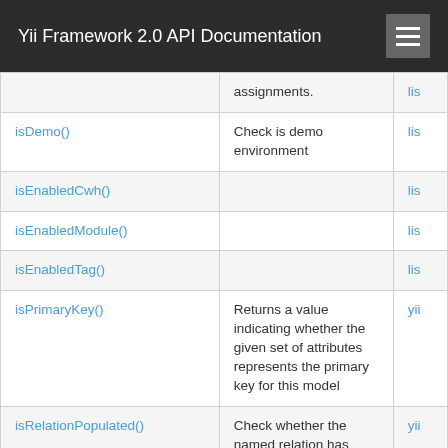Yii Framework 2.0 API Documentation
| Method | Description | Defined By |
| --- | --- | --- |
|  | assignments. | lis... |
| isDemo() | Check is demo environment | lis... |
| isEnabledCwh() |  | lis... |
| isEnabledModule() |  | lis... |
| isEnabledTag() |  | lis... |
| isPrimaryKey() | Returns a value indicating whether the given set of attributes represents the primary key for this model | yii... |
| isRelationPopulated() | Check whether the named relation has been populated with records. | yii... |
| isTransactional() | Returns a value indicating | yii... |